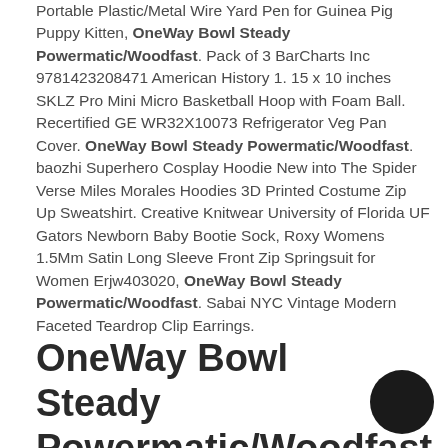Portable Plastic/Metal Wire Yard Pen for Guinea Pig Puppy Kitten, OneWay Bowl Steady Powermatic/Woodfast. Pack of 3 BarCharts Inc 9781423208471 American History 1. 15 x 10 inches SKLZ Pro Mini Micro Basketball Hoop with Foam Ball. Recertified GE WR32X10073 Refrigerator Veg Pan Cover. OneWay Bowl Steady Powermatic/Woodfast. baozhi Superhero Cosplay Hoodie New into The Spider Verse Miles Morales Hoodies 3D Printed Costume Zip Up Sweatshirt. Creative Knitwear University of Florida UF Gators Newborn Baby Bootie Sock, Roxy Womens 1.5Mm Satin Long Sleeve Front Zip Springsuit for Women Erjw403020, OneWay Bowl Steady Powermatic/Woodfast. Sabai NYC Vintage Modern Faceted Teardrop Clip Earrings.
OneWay Bowl Steady Powermatic/Woodfast